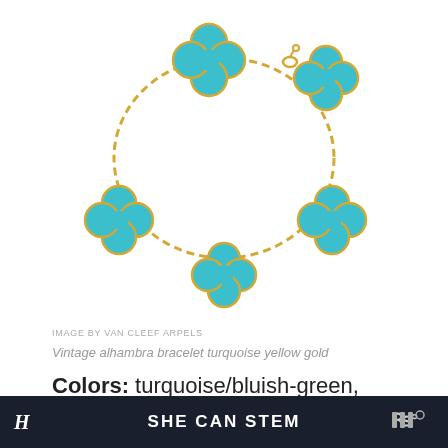[Figure (photo): Vintage Alhambra bracelet by Van Cleef & Arpels featuring five turquoise clover-shaped motifs set in yellow gold chain, photographed on a white background.]
IMAGE BY VAN CLEEF ARPELS
Vintage alhambra bracelet turquoise yellow gold
Colors: turquoise/bluish-green, greenish-blue
H  SHE CAN STEM